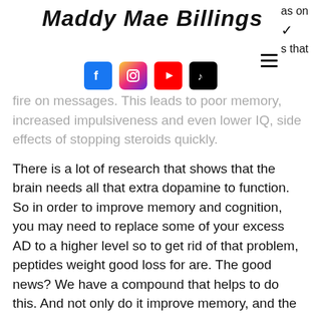Maddy Mae Billings — social media blog header with Facebook, Instagram, YouTube, TikTok icons
fire on messages. This leads to poor memory, increased impulsiveness and even lower IQ, side effects of stopping steroids quickly.
There is a lot of research that shows that the brain needs all that extra dopamine to function. So in order to improve memory and cognition, you may need to replace some of your excess AD to a higher level so to get rid of that problem, peptides weight good loss for are. The good news? We have a compound that helps to do this. And not only do it improve memory, and the effects are very rapid — not hours or days, side effects of stopping steroid inhalers.
The problem is that it is more expensive — and often not available in the US for this